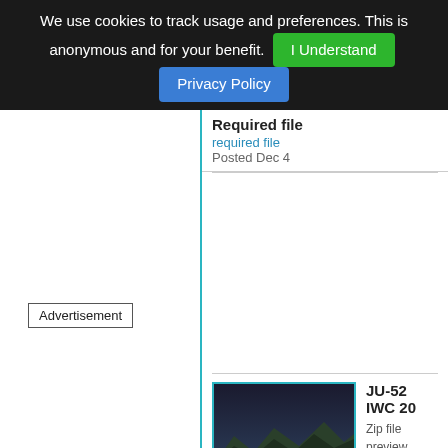We use cookies to track usage and preferences. This is anonymous and for your benefit. I Understand  Privacy Policy
Required file
required file
Posted Dec 4
[Figure (photo): A JU-52 aircraft on a dark runway with a mountainous landscape in the background at dusk]
JU-52 IWC 20
Zip file preview 5.60Mb (1239
JU52 IWC 20 needs the FS
Advertisement
Required file
required file
Posted Dec 2